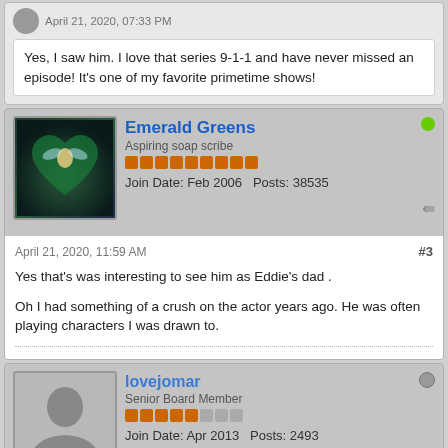April 21, 2020, 07:33 PM
Yes, I saw him. I love that series 9-1-1 and have never missed an episode! It's one of my favorite primetime shows!
Emerald Greens
Aspiring soap scribe
Join Date: Feb 2006   Posts: 38535
April 21, 2020, 11:59 AM
#3
Yes that's was interesting to see him as Eddie's dad .

Oh I had something of a crush on the actor years ago. He was often playing characters I was drawn to.
lovejomar
Senior Board Member
Join Date: Apr 2013   Posts: 2493